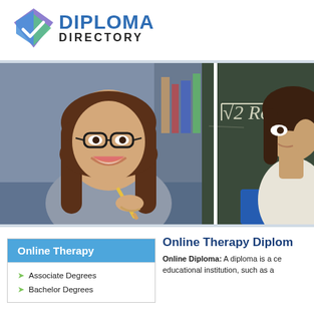[Figure (logo): Diploma Directory logo with geometric diamond/check icon in blue, purple, green colors and bold text 'DIPLOMA DIRECTORY']
[Figure (photo): Banner with two student photos side by side. Left: smiling young woman with glasses and long brown hair holding a pencil. Right: woman near a chalkboard with math formula sqrt(2Ro) written on it.]
Online Therapy
Associate Degrees
Bachelor Degrees
Online Therapy Diplom
Online Diploma: A diploma is a ce educational institution, such as a